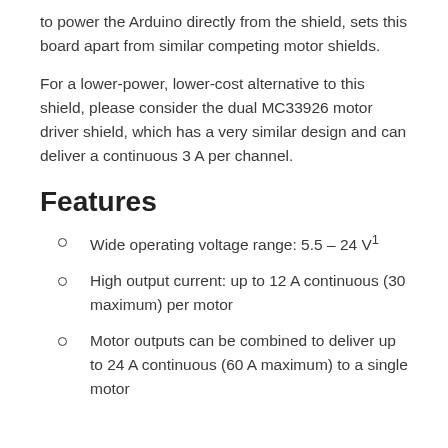to power the Arduino directly from the shield, sets this board apart from similar competing motor shields.
For a lower-power, lower-cost alternative to this shield, please consider the dual MC33926 motor driver shield, which has a very similar design and can deliver a continuous 3 A per channel.
Features
Wide operating voltage range: 5.5 – 24 V¹
High output current: up to 12 A continuous (30 maximum) per motor
Motor outputs can be combined to deliver up to 24 A continuous (60 A maximum) to a single motor